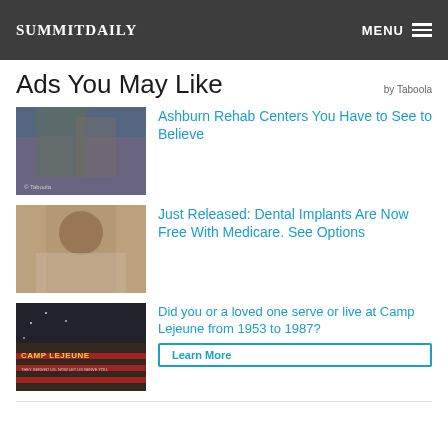Summit Daily | MENU
Ads You May Like
by Taboola
[Figure (photo): Two young women sitting against a graffiti wall, one smoking]
Ashburn Rehab Centers You Have to See to Believe
[Figure (photo): Young woman with hair up in a white top looking at camera]
Just Released: Dental Implants Are Now Free With Medicare. See Options
[Figure (photo): Camp Lejeune advertisement with American flag]
Did you or a loved one serve or live at Camp Lejeune from 1953 to 1987?
Learn More